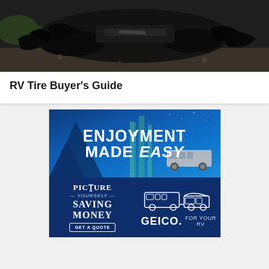[Figure (photo): A wrecked or rolled vehicle with shredded tires, dark debris on ground outdoors]
RV Tire Buyer's Guide
[Figure (infographic): GEICO advertisement: top section shows 'ENJOYMENT MADE EASY' text on blue night sky background with RV and green light beams. Bottom section shows 'PICTURE YOURSELF SAVING MONEY - GET A QUOTE' with illustration of RV being towed, GEICO FOR YOUR RV branding.]